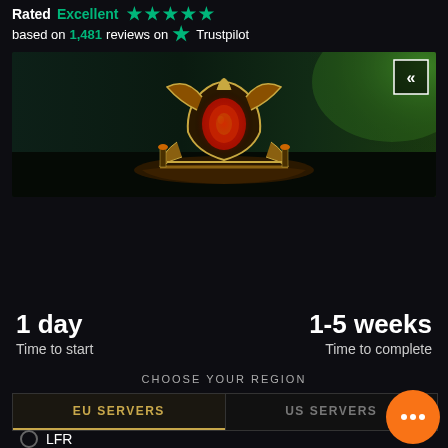Rated Excellent ★★★★★ based on 1,481 reviews on ★ Trustpilot
[Figure (screenshot): World of Warcraft game promotional image showing a dark artifact/boss with red glowing heart center, golden dragon-like frame, green mystical background. Has a back navigation button (<<) in top-right corner.]
1 day
Time to start
1-5 weeks
Time to complete
CHOOSE YOUR REGION
EU SERVERS
US SERVERS
LFR